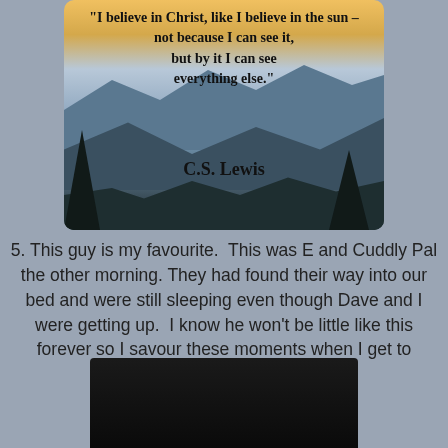[Figure (illustration): A scenic mountain landscape photo with a C.S. Lewis quote overlaid in bold text: '"I believe in Christ, like I believe in the sun – not because I can see it, but by it I can see everything else." C.S. Lewis']
5. This guy is my favourite.  This was E and Cuddly Pal the other morning. They had found their way into our bed and were still sleeping even though Dave and I were getting up.  I know he won't be little like this forever so I savour these moments when I get to snuggle with him
[Figure (photo): A very dark photo, mostly black, showing what appears to be a sleeping child in a bed.]